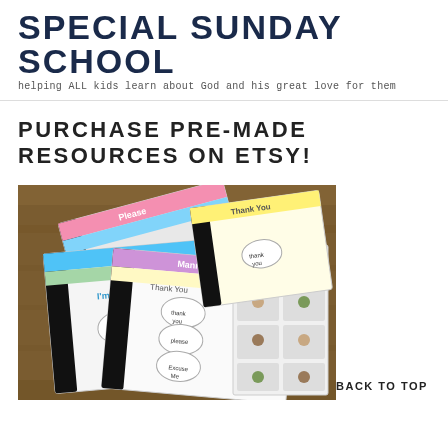SPECIAL SUNDAY SCHOOL
helping ALL kids learn about God and his great love for them
PURCHASE PRE-MADE RESOURCES ON ETSY!
[Figure (photo): Photo of spiral-bound activity books and card sets about manners (Excuse Me, I'm Sorry, Please, Thank You, Manners) spread on a wooden table, with illustrated cards showing children.]
BACK TO TOP